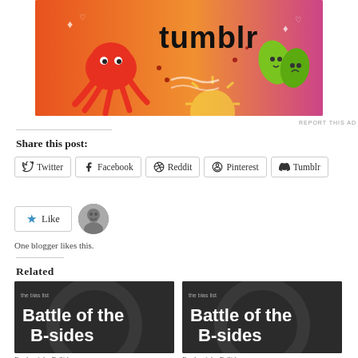[Figure (illustration): Colorful advertisement banner with orange-to-pink gradient background, cartoon octopus, sun, and leaf characters with decorative patterns. Text appears to say 'tumblr' or similar.]
REPORT THIS AD
Share this post:
Twitter  Facebook  Reddit  Pinterest  Tumblr
Like
One blogger likes this.
Related
[Figure (illustration): Dark card with 'the bias list' small text and 'Battle of the B-sides' large white bold text on dark background with faint circular record graphic]
[Figure (illustration): Dark card with 'the bias list' small text and 'Battle of the B-sides' large white bold text on dark background with faint circular record graphic]
Battle of the B-Sid...
Battle of the B-Sid...